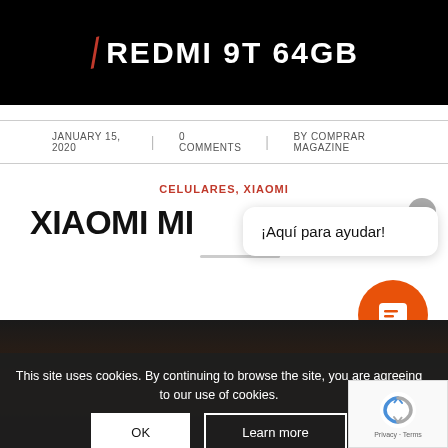[Figure (screenshot): Hero banner with dark background showing 'REDMI 9T 64GB' text in white bold letters with a red slash/mark on the left]
JANUARY 15, 2020 | 0 COMMENTS | BY COMPRAR MAGAZINE
CELULARES, XIAOMI
XIAOMI MI...
[Figure (screenshot): Chat widget popup showing '¡Aquí para ayudar!' with close X button and orange chat icon below]
[Figure (screenshot): Bottom dark background product image with 'AVAILABLE NO...' text partially visible]
This site uses cookies. By continuing to browse the site, you are agreeing to our use of cookies.
OK    Learn more
[Figure (logo): reCAPTCHA badge with blue/grey circular arrow logo and 'Privacy · Terms' text]